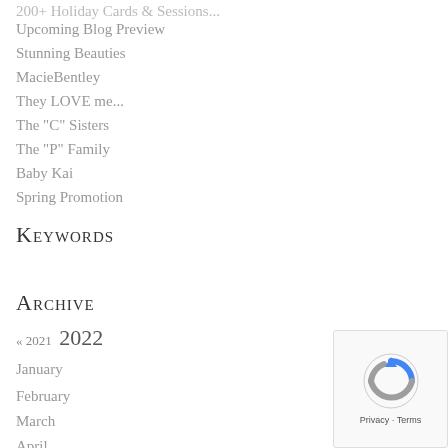200+ Holiday Cards & Sessions...
Upcoming Blog Preview
Stunning Beauties
MacieBentley
They LOVE me...
The "C" Sisters
The "P" Family
Baby Kai
Spring Promotion
Keywords
Archive
« 2021  2022
January
February
March
April
May